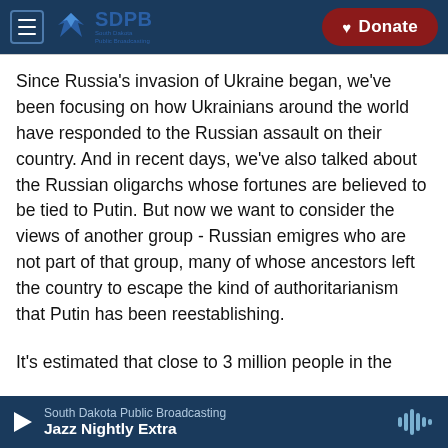SDPB South Dakota Public Broadcasting | Donate
Since Russia's invasion of Ukraine began, we've been focusing on how Ukrainians around the world have responded to the Russian assault on their country. And in recent days, we've also talked about the Russian oligarchs whose fortunes are believed to be tied to Putin. But now we want to consider the views of another group - Russian emigres who are not part of that group, many of whose ancestors left the country to escape the kind of authoritarianism that Putin has been reestablishing.
It's estimated that close to 3 million people in the
South Dakota Public Broadcasting | Jazz Nightly Extra